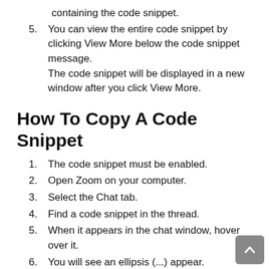containing the code snippet.
5. You can view the entire code snippet by clicking View More below the code snippet message.
The code snippet will be displayed in a new window after you click View More.
How To Copy A Code Snippet
1. The code snippet must be enabled.
2. Open Zoom on your computer.
3. Select the Chat tab.
4. Find a code snippet in the thread.
5. When it appears in the chat window, hover over it.
6. You will see an ellipsis (...) appear.